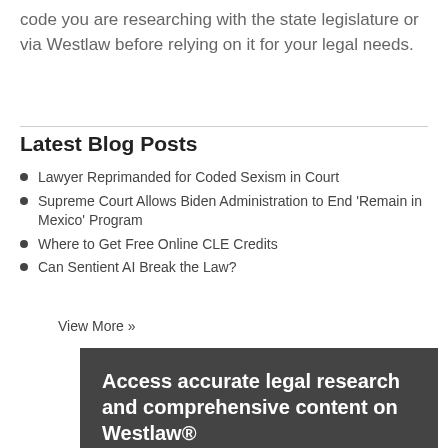code you are researching with the state legislature or via Westlaw before relying on it for your legal needs.
Latest Blog Posts
Lawyer Reprimanded for Coded Sexism in Court
Supreme Court Allows Biden Administration to End 'Remain in Mexico' Program
Where to Get Free Online CLE Credits
Can Sentient AI Break the Law?
View More »
[Figure (infographic): Dark gray advertisement box for Westlaw with white bold text 'Access accurate legal research and comprehensive content on Westlaw®' and orange bold text 'for as low as']